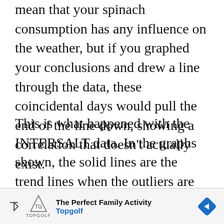mean that your spinach consumption has any influence on the weather, but if you graphed your conclusions and drew a line through the data, these coincidental days would pull the end of the line down, showing a correlation that doesn't actually exist.
This is what happened with the INTERSALT data. In the graphs shown, the solid lines are the trend lines when the outliers are included; the dotted lines show the observed trends with the outliers excluded. When the outliers don't influence the trend lines, the correlation between salt intake and blood press...
[Figure (other): Advertisement banner for Topgolf: 'The Perfect Family Activity' with Topgolf logo and navigation icon]